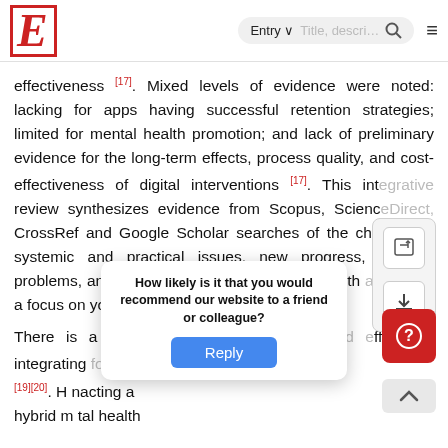E | Entry | Title, description search
effectiveness [17]. Mixed levels of evidence were noted: lacking for apps having successful retention strategies; limited for mental health promotion; and lack of preliminary evidence for the long-term effects, process quality, and cost-effectiveness of digital interventions [17]. This integrative review synthesizes evidence from Scopus, ScienceDirect, CrossRef and Google Scholar searches of the challenges, systemic and practical issues, new progress, ongoing problems, and approaches of digital mental health as well as a focus on young people.
There is a need for rapidly deploying and effectively integrating for users at individual [18][19][20]. H nacting a hybrid m tal health